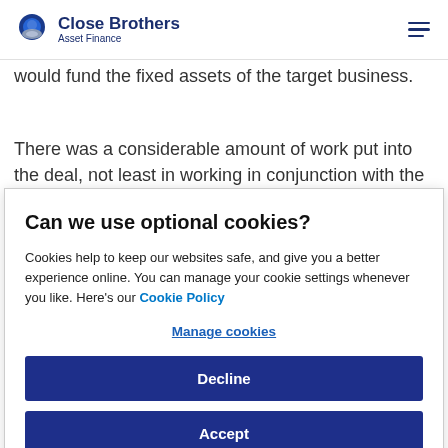Close Brothers Asset Finance
would fund the fixed assets of the target business.
There was a considerable amount of work put into the deal, not least in working in conjunction with the various advisors involved in order to conclude the transaction on
Can we use optional cookies?
Cookies help to keep our websites safe, and give you a better experience online. You can manage your cookie settings whenever you like. Here's our Cookie Policy
Manage cookies
Decline
Accept